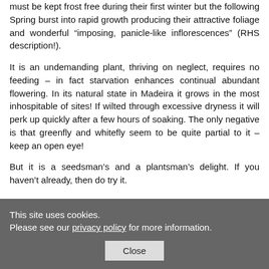must be kept frost free during their first winter but the following Spring burst into rapid growth producing their attractive foliage and wonderful “imposing, panicle-like inflorescences” (RHS description!).
It is an undemanding plant, thriving on neglect, requires no feeding – in fact starvation enhances continual abundant flowering. In its natural state in Madeira it grows in the most inhospitable of sites! If wilted through excessive dryness it will perk up quickly after a few hours of soaking. The only negative is that greenfly and whitefly seem to be quite partial to it – keep an open eye!
But it is a seedsman’s and a plantsman’s delight. If you haven’t already, then do try it.
This site uses cookies.
Please see our privacy policy for more information.